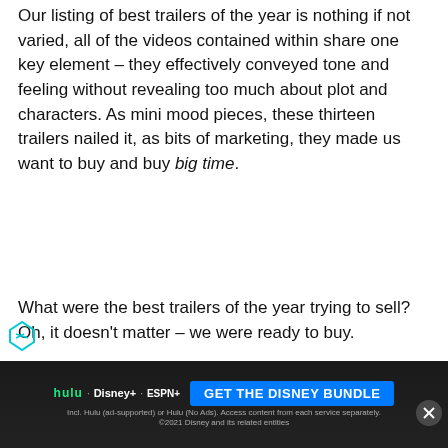Our listing of best trailers of the year is nothing if not varied, all of the videos contained within share one key element – they effectively conveyed tone and feeling without revealing too much about plot and characters. As mini mood pieces, these thirteen trailers nailed it, as bits of marketing, they made us want to buy and buy big time.
What were the best trailers of the year trying to sell? Oh, it doesn't matter – we were ready to buy.
[Figure (photo): Partial image strip showing a golden sphere and a person, cropped at bottom of page]
[Figure (screenshot): Advertisement banner for Disney Bundle featuring Hulu, Disney+, and ESPN+ logos with a GET THE DISNEY BUNDLE button and fine print text]